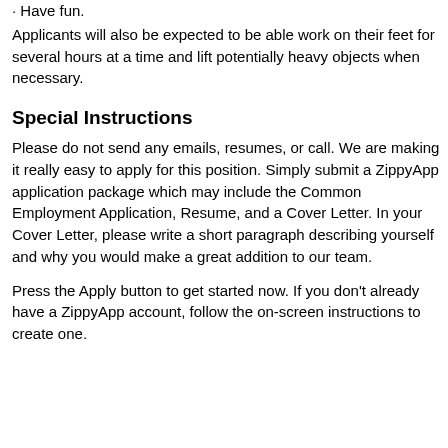Have fun.
Applicants will also be expected to be able work on their feet for several hours at a time and lift potentially heavy objects when necessary.
Special Instructions
Please do not send any emails, resumes, or call. We are making it really easy to apply for this position. Simply submit a ZippyApp application package which may include the Common Employment Application, Resume, and a Cover Letter. In your Cover Letter, please write a short paragraph describing yourself and why you would make a great addition to our team.
Press the Apply button to get started now. If you don't already have a ZippyApp account, follow the on-screen instructions to create one.